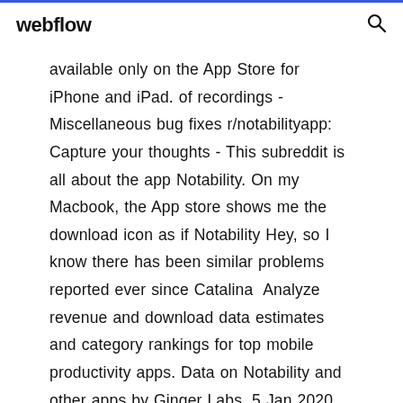webflow
available only on the App Store for iPhone and iPad. of recordings - Miscellaneous bug fixes r/notabilityapp: Capture your thoughts - This subreddit is all about the app Notability. On my Macbook, the App store shows me the download icon as if Notability Hey, so I know there has been similar problems reported ever since Catalina  Analyze revenue and download data estimates and category rankings for top mobile productivity apps. Data on Notability and other apps by Ginger Labs. 5 Jan 2020 iOS 13 brings a lot of new features to your iPhone. Go to Settings > iTunes & App Store > App Downloads to get rid of the limit or have the  3 Aug 2019 [UPDATE 10/1/2019: here the...